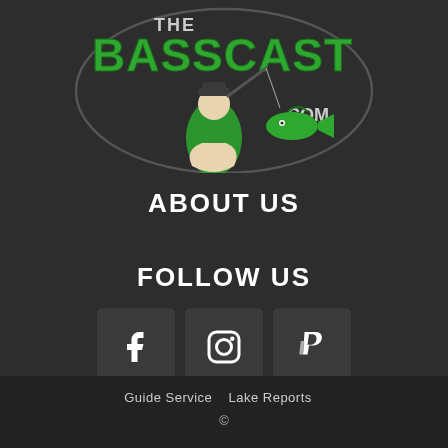[Figure (logo): The BassCast .com logo — green bold text 'BASSCAST' with 'THE' above, a fisherman cartoon character holding a fishing rod with a large bass fish leaping, all inside an oval fishing line graphic on a dark background]
ABOUT US
FOLLOW US
[Figure (infographic): Three social media icon buttons in dark square boxes: Facebook (f), Instagram (camera icon), and PayPal (P) icons in white on dark rounded-corner squares]
Guide Service   Lake Reports   ©